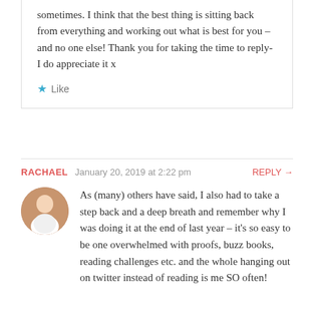sometimes. I think that the best thing is sitting back from everything and working out what is best for you – and no one else! Thank you for taking the time to reply- I do appreciate it x
★ Like
RACHAEL  January 20, 2019 at 2:22 pm  REPLY →
As (many) others have said, I also had to take a step back and a deep breath and remember why I was doing it at the end of last year – it's so easy to be one overwhelmed with proofs, buzz books, reading challenges etc. and the whole hanging out on twitter instead of reading is me SO often!